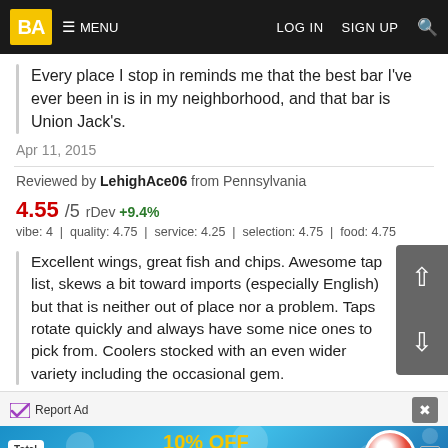BA  MENU  LOG IN  SIGN UP
Every place I stop in reminds me that the best bar I've ever been in is in my neighborhood, and that bar is Union Jack's.
Apr 11, 2015
Reviewed by LehighAce06 from Pennsylvania
4.55/5  rDev +9.4%
vibe: 4  |  quality: 4.75  |  service: 4.25  |  selection: 4.75  |  food: 4.75
Excellent wings, great fish and chips. Awesome tap list, skews a bit toward imports (especially English) but that is neither out of place nor a problem. Taps rotate quickly and always have some nice ones to pick from. Coolers stocked with an even wider variety including the occasional gem.
Report Ad